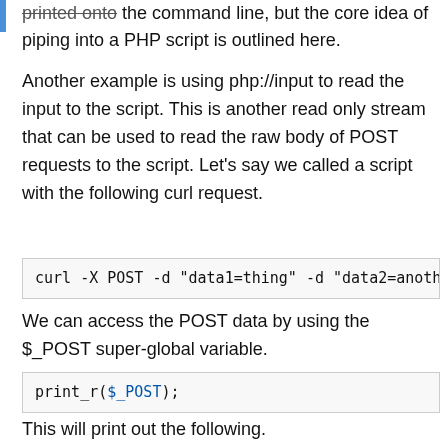printed onto the command line, but the core idea of piping into a PHP script is outlined here.
Another example is using php://input to read the input to the script. This is another read only stream that can be used to read the raw body of POST requests to the script. Let's say we called a script with the following curl request.
We can access the POST data by using the $_POST super-global variable.
This will print out the following.